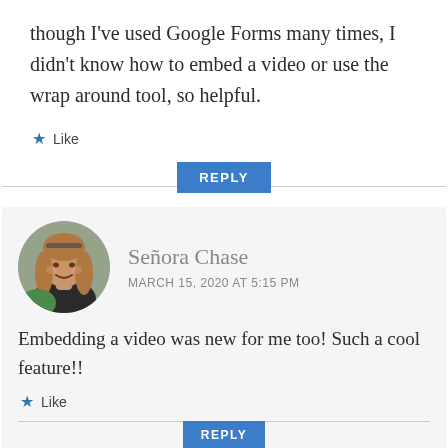though I've used Google Forms many times, I didn't know how to embed a video or use the wrap around tool, so helpful.
Like
REPLY
[Figure (photo): Circular avatar photo of Señora Chase, a woman with long brown hair and sunglasses on her head, smiling outdoors.]
Señora Chase
MARCH 15, 2020 AT 5:15 PM
Embedding a video was new for me too! Such a cool feature!!
Like
REPLY